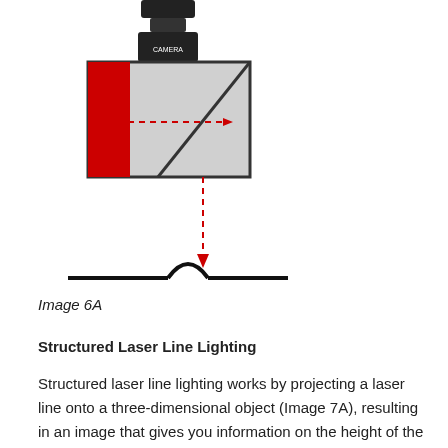[Figure (schematic): Laser line scanner schematic showing a camera mounted at top, a mirror box deflecting a laser beam downward via a dashed red arrow, and the beam hitting a curved surface (object) at the bottom.]
Image 6A
Structured Laser Line Lighting
Structured laser line lighting works by projecting a laser line onto a three-dimensional object (Image 7A), resulting in an image that gives you information on the height of the object.  Depending on the mounting angle of the camera and laser line transmitter, the resulting laser line shift will be larger or smaller as you change the angle of the